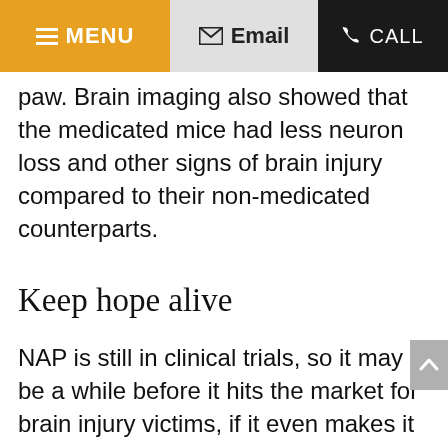MENU | Email | CALL
paw. Brain imaging also showed that the medicated mice had less neuron loss and other signs of brain injury compared to their non-medicated counterparts.
Keep hope alive
NAP is still in clinical trials, so it may be a while before it hits the market for brain injury victims, if it even makes it that far. However, this story is just one of several that seem to come out each month detailing the efforts and